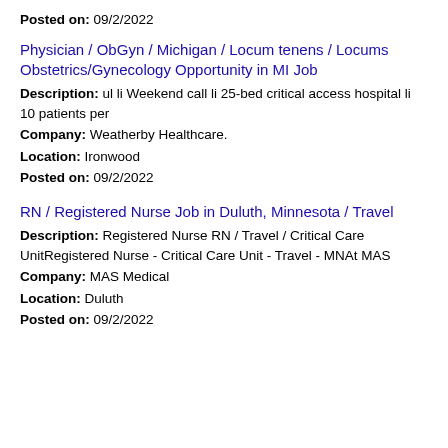Posted on: 09/2/2022
Physician / ObGyn / Michigan / Locum tenens / Locums Obstetrics/Gynecology Opportunity in MI Job
Description: ul li Weekend call li 25-bed critical access hospital li 10 patients per
Company: Weatherby Healthcare.
Location: Ironwood
Posted on: 09/2/2022
RN / Registered Nurse Job in Duluth, Minnesota / Travel
Description: Registered Nurse RN / Travel / Critical Care UnitRegistered Nurse - Critical Care Unit - Travel - MNAt MAS
Company: MAS Medical
Location: Duluth
Posted on: 09/2/2022